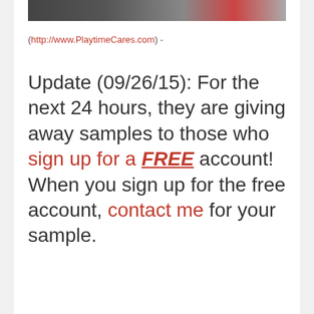[Figure (photo): Partial image strip at top of page showing people]
(http://www.PlaytimeCares.com) -
Update (09/26/15): For the next 24 hours, they are giving away samples to those who sign up for a FREE account! When you sign up for the free account, contact me for your sample.